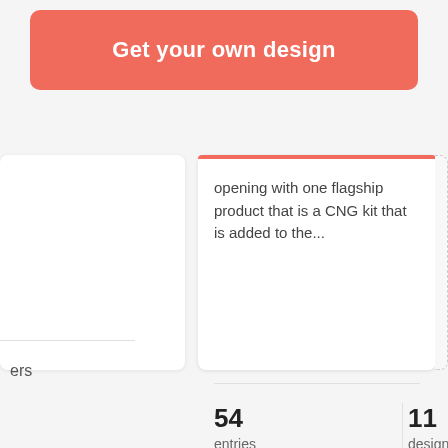Get your own design
opening with one flagship product that is a CNG kit that is added to the...
54 entries
11 designers